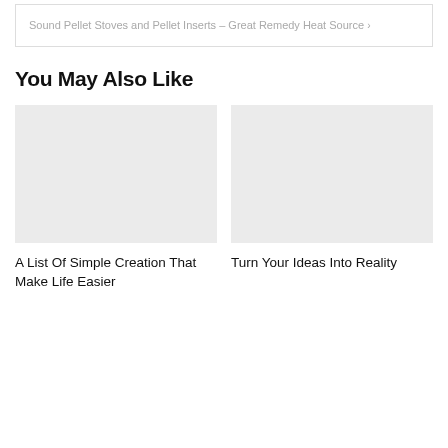Sound Pellet Stoves and Pellet Inserts – Great Remedy Heat Source >
You May Also Like
[Figure (photo): Placeholder image for article: A List Of Simple Creation That Make Life Easier]
A List Of Simple Creation That Make Life Easier
[Figure (photo): Placeholder image for article: Turn Your Ideas Into Reality]
Turn Your Ideas Into Reality